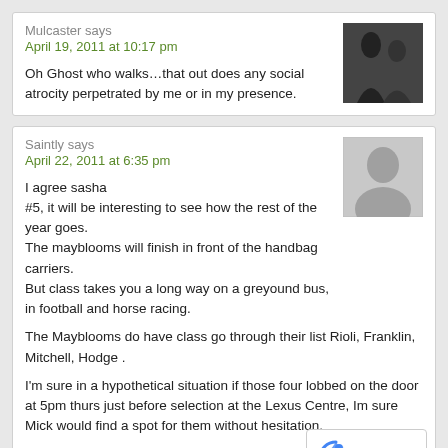Mulcaster says
April 19, 2011 at 10:17 pm
Oh Ghost who walks…that out does any social atrocity perpetrated by me or in my presence.
Saintly says
April 22, 2011 at 6:35 pm
I agree sasha
#5, it will be interesting to see how the rest of the year goes.
The mayblooms will finish in front of the handbag carriers.
But class takes you a long way on a greyound bus, in football and horse racing.

The Mayblooms do have class go through their list Rioli, Franklin, Mitchell, Hodge .

I'm sure in a hypothetical situation if those four lobbed on the door at 5pm thurs just before selection at the Lexus Centre, Im sure Mick would find a spot for them without hesitation.
Sasha says
April 22, 2011 at 9:01 pm